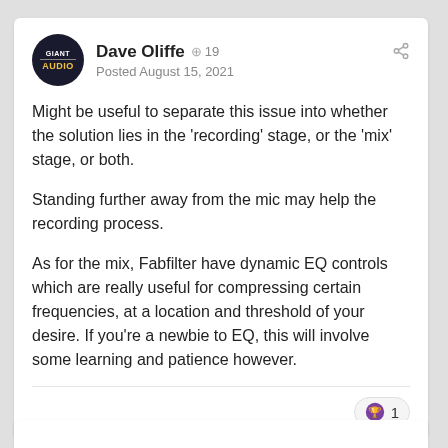Dave Oliffe • 19 | Posted August 15, 2021
Might be useful to separate this issue into whether the solution lies in the 'recording' stage, or the 'mix' stage, or both.
Standing further away from the mic may help the recording process.
As for the mix, Fabfilter have dynamic EQ controls which are really useful for compressing certain frequencies, at a location and threshold of your desire. If you're a newbie to EQ, this will involve some learning and patience however.